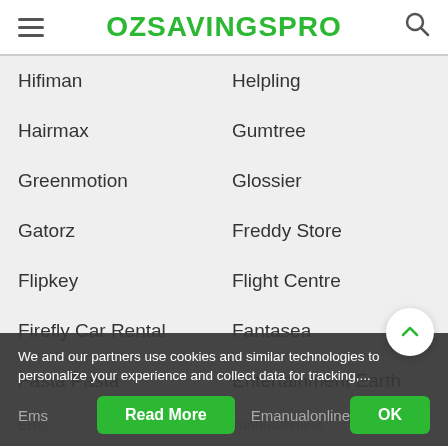OZSAVINGSPRO
Hifiman
Helpling
Hairmax
Gumtree
Greenmotion
Glossier
Gatorz
Freddy Store
Flipkey
Flight Centre
Firefly Car Rental
Fantasea
Fasta Pasta
Entertainment Earth
Ems
Emanualonline
We and our partners use cookies and similar technologies to personalize your experience and collect data for tracking,...